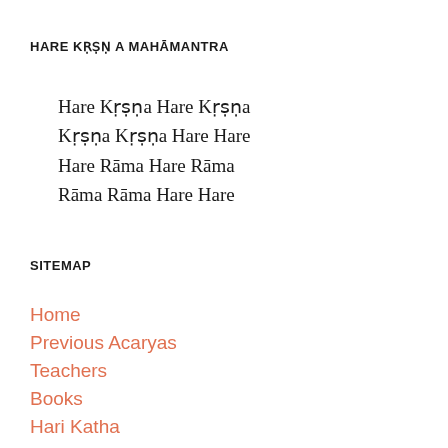HARE KṚṢṆA MAHĀMANTRA
Hare Kṛṣṇa Hare Kṛṣṇa
Kṛṣṇa Kṛṣṇa Hare Hare
Hare Rāma Hare Rāma
Rāma Rāma Hare Hare
SITEMAP
Home
Previous Acaryas
Teachers
Books
Hari Katha
News
Krsna Balaram Mandir